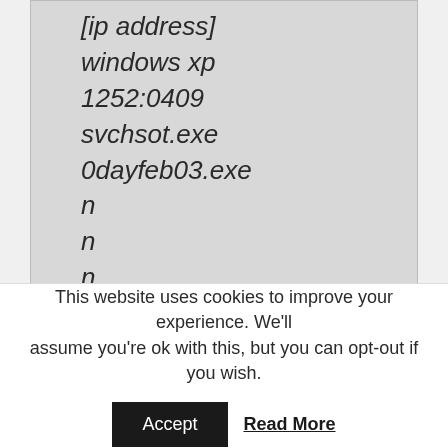[ip address]
windows xp
1252:0409
svchsot.exe
0dayfeb03.exe
n
n
n
2.14
The campaign code embedded in this attack is 0dayfeb03.exe with the date (February 3 2012), which
This website uses cookies to improve your experience. We'll assume you're ok with this, but you can opt-out if you wish. Accept Read More